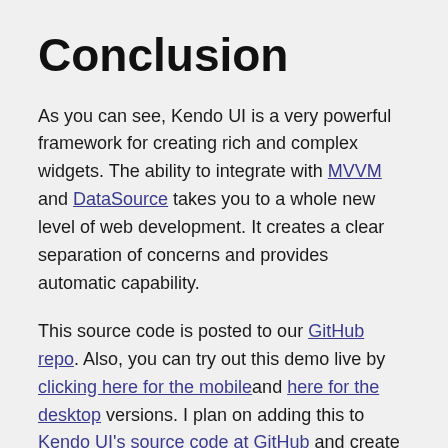Conclusion
As you can see, Kendo UI is a very powerful framework for creating rich and complex widgets. The ability to integrate with MVVM and DataSource takes you to a whole new level of web development. It creates a clear separation of concerns and provides automatic capability.
This source code is posted to our GitHub repo. Also, you can try out this demo live by clicking here for the mobile and here for the desktop versions. I plan on adding this to Kendo UI's source code at GitHub and create a pull